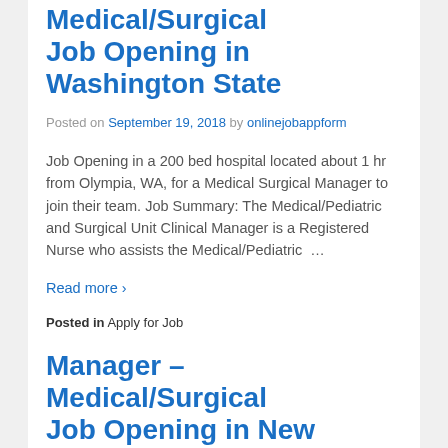Medical/Surgical Job Opening in Washington State
Posted on September 19, 2018 by onlinejobappform
Job Opening in a 200 bed hospital located about 1 hr from Olympia, WA, for a Medical Surgical Manager to join their team. Job Summary: The Medical/Pediatric and Surgical Unit Clinical Manager is a Registered Nurse who assists the Medical/Pediatric …
Read more ›
Posted in Apply for Job
Manager – Medical/Surgical Job Opening in New